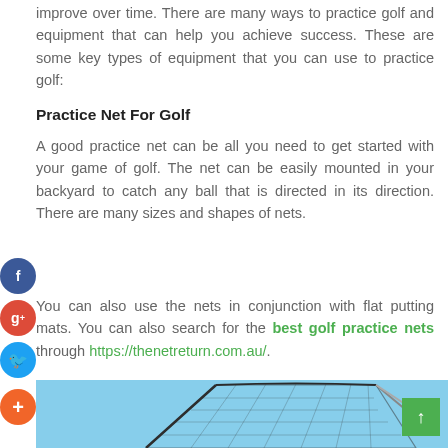improve over time. There are many ways to practice golf and equipment that can help you achieve success. These are some key types of equipment that you can use to practice golf:
Practice Net For Golf
A good practice net can be all you need to get started with your game of golf. The net can be easily mounted in your backyard to catch any ball that is directed in its direction. There are many sizes and shapes of nets.
You can also use the nets in conjunction with flat putting mats. You can also search for the best golf practice nets through https://thenetreturn.com.au/.
[Figure (photo): Photo of a golf practice net with black netting against a blue sky background, with metal support poles visible.]